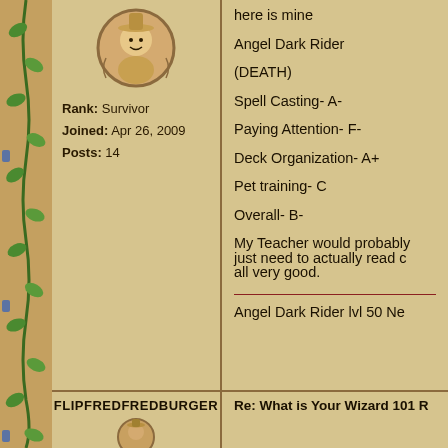[Figure (illustration): Round avatar/badge with cartoon wizard character illustration, brown tones]
Rank: Survivor
Joined: Apr 26, 2009
Posts: 14
here is mine

Angel Dark Rider

(DEATH)

Spell Casting- A-

Paying Attention- F-

Deck Organization- A+

Pet training- C

Overall- B-

My Teacher would probably just need to actually read c all very good.

Angel Dark Rider lvl 50 Ne
FLIPFREDFREDBURGER
Re: What is Your Wizard 101 R